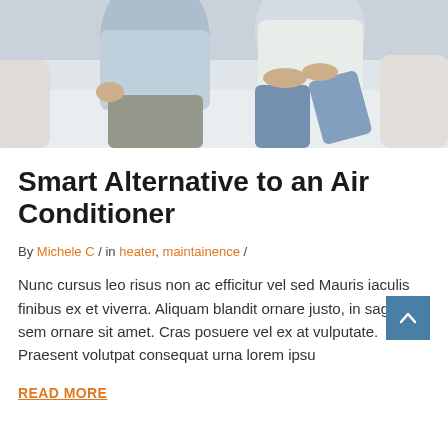[Figure (photo): Two people sitting on a white couch, a man in a light blue shirt and a woman in a white top with jeans, photographed from mid-torso down.]
Smart Alternative to an Air Conditioner
By Michele C / in heater, maintainence /
Nunc cursus leo risus non ac efficitur vel sed Mauris iaculis finibus ex et viverra. Aliquam blandit ornare justo, in sagittis sem ornare sit amet. Cras posuere vel ex at vulputate. Praesent volutpat consequat urna lorem ipsu
READ MORE